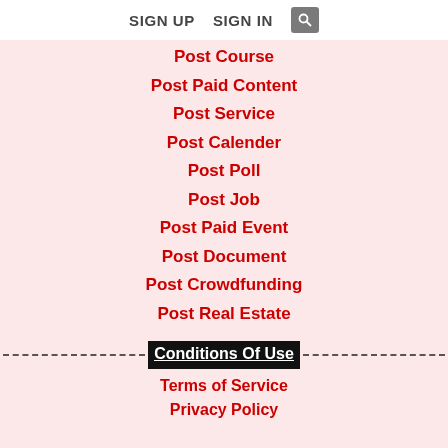SIGN UP   SIGN IN   [search icon]
Post Course
Post Paid Content
Post Service
Post Calender
Post Poll
Post Job
Post Paid Event
Post Document
Post Crowdfunding
Post Real Estate
Conditions Of Use
Terms of Service
Privacy Policy